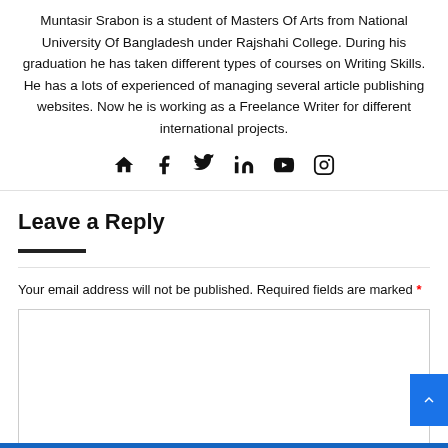Muntasir Srabon is a student of Masters Of Arts from National University Of Bangladesh under Rajshahi College. During his graduation he has taken different types of courses on Writing Skills. He has a lots of experienced of managing several article publishing websites. Now he is working as a Freelance Writer for different international projects.
[Figure (other): Social media icons: home, facebook, twitter, linkedin, youtube, instagram]
Leave a Reply
Your email address will not be published. Required fields are marked *
[Figure (other): Empty comment text area input box]